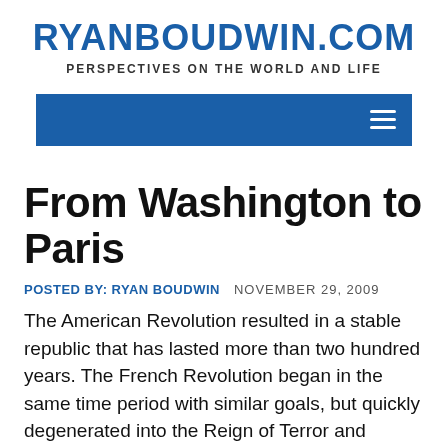RYANBOUDWIN.COM
PERSPECTIVES ON THE WORLD AND LIFE
[Figure (other): Blue navigation bar with hamburger menu icon on the right]
From Washington to Paris
POSTED BY: RYAN BOUDWIN   NOVEMBER 29, 2009
The American Revolution resulted in a stable republic that has lasted more than two hundred years. The French Revolution began in the same time period with similar goals, but quickly degenerated into the Reign of Terror and ultimately the military dictatorship of Napoleon Bonaparte. What made this Revolution end so differently? Following the revolution, America